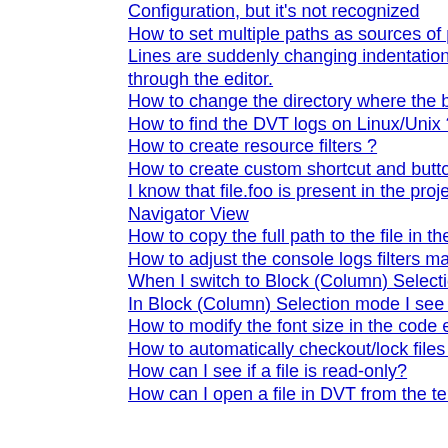Configuration, but it's not recognized
How to set multiple paths as sources of predefined projects ?
Lines are suddenly changing indentation when I edit text or move the cursor through the editor.
How to change the directory where the build log file is saved ?
How to find the DVT logs on Linux/Unix ?
How to create resource filters ?
How to create custom shortcut and button for a Run Configuration?
I know that file.foo is present in the project location, but I can't see it in the Navigator View
How to copy the full path to the file in the current editor?
How to adjust the console logs filters matching parameters?
When I switch to Block (Column) Selection mode the font changes
In Block (Column) Selection mode I see strange editng artifacts
How to modify the font size in the code editors?
How to automatically checkout/lock files from the revision control system ?
How can I see if a file is read-only?
How can I open a file in DVT from the terminal?